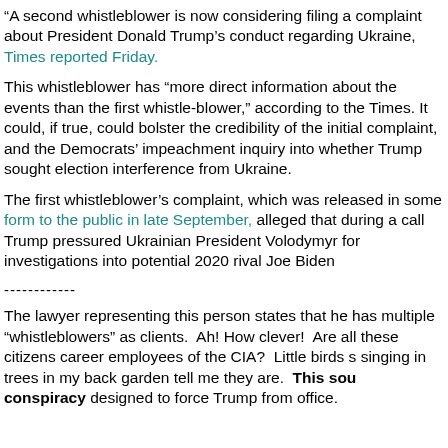"A second whistleblower is now considering filing a complaint about President Donald Trump's conduct regarding Ukraine, the New York Times reported Friday.
This whistleblower has “more direct information about the events than the first whistle-blower,” according to the Times. It could, if true, could bolster the credibility of the initial complaint, and the Democrats’ impeachment inquiry into whether Trump sought election interference from Ukraine.
The first whistleblower’s complaint, which was released in some form to the public in late September, alleged that during a phone call Trump pressured Ukrainian President Volodymyr for investigations into potential 2020 rival Joe Biden
------------
The lawyer representing this person states that he has multiple “whistleblowers” as clients. Ah! How clever! Are all these citizens career employees of the CIA? Little birds singing in trees in my back garden tell me they are. This sounds like a conspiracy designed to force Trump from office.